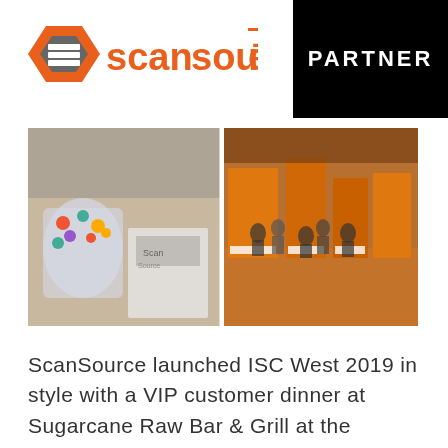[Figure (logo): ScanSource logo with orange hexagon icon and orange/gray wordmark]
[Figure (illustration): Black rectangle badge with white text PARTNER]
[Figure (photo): Two side-by-side event photos: left shows candy jar and branded box at a booth; right shows trade show floor with people and orange booths]
ScanSource launched ISC West 2019 in style with a VIP customer dinner at Sugarcane Raw Bar & Grill at the Venetian, where partners were treated to some great food, as well as the unique experience of creating their very own, fully